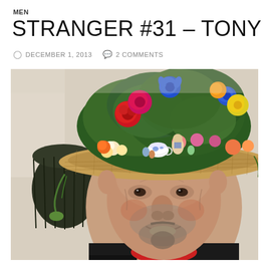MEN
STRANGER #31 – TONY
⊙ DECEMBER 1, 2013   ✉ 2 COMMENTS
[Figure (photo): Close-up portrait of an older man named Tony, smiling, wearing a wide-brimmed wicker hat elaborately decorated with colorful flowers (red roses, blue cornflowers, yellow blossoms), green foliage, and small ceramic figurines including a teapot. He wears a black jacket and a red polka-dot bandana/neckerchief. Background is a beige/cream wall with a dark hanging planter basket visible.]